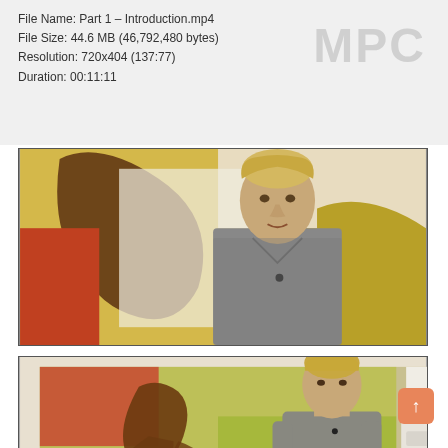File Name: Part 1 – Introduction.mp4
File Size: 44.6 MB (46,792,480 bytes)
Resolution: 720x404 (137:77)
Duration: 00:11:11
MPC
[Figure (photo): Video thumbnail showing a man with short blonde hair in a gray v-neck shirt speaking in front of colorful abstract artwork on a white wall. Close-up shot of his face and upper body.]
[Figure (photo): Video thumbnail showing the same man in a gray t-shirt standing in front of a large colorful abstract painting with figurative elements. Full body shot in a gallery-like room with white walls and a white shelf/radiator on the right.]